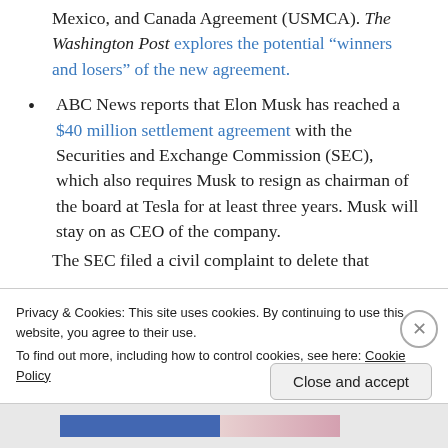Mexico, and Canada Agreement (USMCA). The Washington Post explores the potential “winners and losers” of the new agreement.
ABC News reports that Elon Musk has reached a $40 million settlement agreement with the Securities and Exchange Commission (SEC), which also requires Musk to resign as chairman of the board at Tesla for at least three years. Musk will stay on as CEO of the company.
The SEC filed a civil complaint to delete that...
Privacy & Cookies: This site uses cookies. By continuing to use this website, you agree to their use.
To find out more, including how to control cookies, see here: Cookie Policy